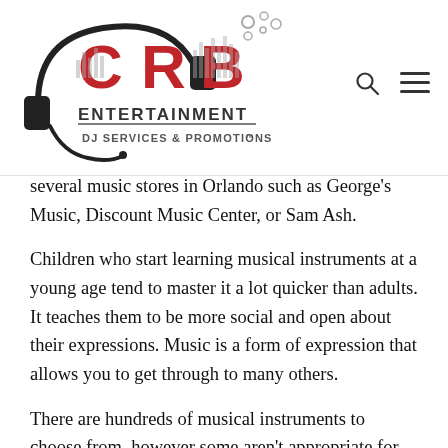[Figure (logo): CRB Entertainment DJ Services & Promotions logo with headphones graphic and red lettering]
several music stores in Orlando such as George's Music, Discount Music Center, or Sam Ash.
Children who start learning musical instruments at a young age tend to master it a lot quicker than adults. It teaches them to be more social and open about their expressions. Music is a form of expression that allows you to get through to many others.
There are hundreds of musical instruments to choose from, however some aren't appropriate for children who are younger because of their size and weight.